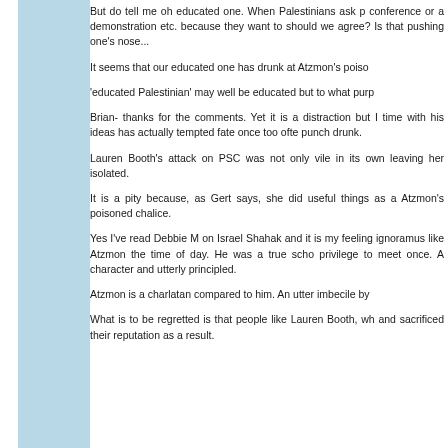But do tell me oh educated one. When Palestinians ask p... conference or a demonstration etc. because they want to ... should we agree? Is that pushing one's nose...
It seems that our educated one has drunk at Atzmon's poiso...
'educated Palestinian' may well be educated but to what purp...
Brian- thanks for the comments. Yet it is a distraction but I ... time with his ideas has actually tempted fate once too ofte... punch drunk.
Lauren Booth's attack on PSC was not only vile in its own ... leaving her isolated.
It is a pity because, as Gert says, she did useful things as a ... Atzmon's poisoned chalice.
Yes I've read Debbie M on Israel Shahak and it is my feeling... ignoramus like Atzmon the time of day. He was a true scho... privilege to meet once. A character and utterly principled.
Atzmon is a charlatan compared to him. An utter imbecile by...
What is to be regretted is that people like Lauren Booth, wh... and sacrificed their reputation as a result.